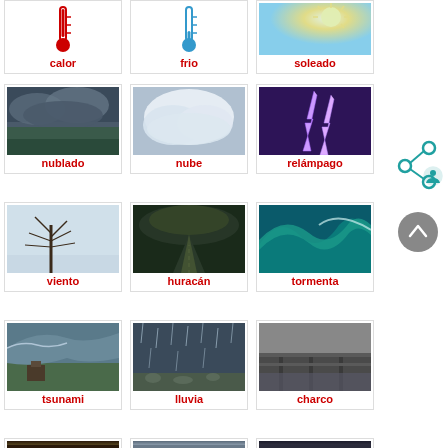[Figure (illustration): 3x1 grid row: calor (red thermometer icon), frio (blue thermometer icon), soleado (sun photo) - top row partial]
[Figure (illustration): 3x1 grid row: nublado (stormy cloudy sky photo), nube (cloud photo), relámpago (lightning photo)]
[Figure (illustration): 3x1 grid row: viento (bare tree in snow photo), huracán (dark road/tornado photo), tormenta (ocean wave photo)]
[Figure (illustration): 3x1 grid row: tsunami (tsunami wave photo), lluvia (rain on rocks photo), charco (puddle/dock photo)]
[Figure (illustration): 3x1 grid row - bottom partial: three weather photos (storm, foggy forest, rainbow/dark sky)]
[Figure (illustration): Share/social icon (teal) and back-to-top circular arrow icon (grey) on right side]